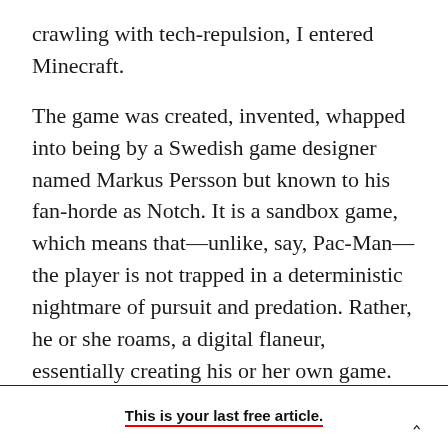crawling with tech-repulsion, I entered Minecraft.
The game was created, invented, whapped into being by a Swedish game designer named Markus Persson but known to his fan-horde as Notch. It is a sandbox game, which means that—unlike, say, Pac-Man—the player is not trapped in a deterministic nightmare of pursuit and predation. Rather, he or she roams, a digital flaneur, essentially creating his or her own game. Algorithmic “terrain generation” is the key here. As you plod or swim or fly across one of the Minecraft biomes—desert, snowy mountain, undersea labyrinth, freaky
This is your last free article.